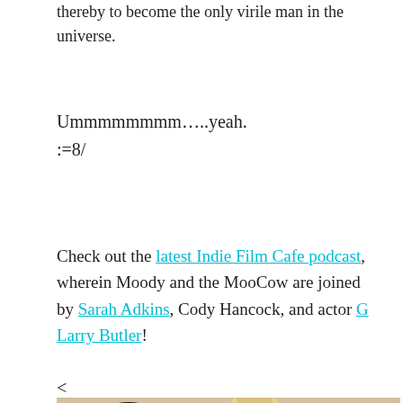thereby to become the only virile man in the universe.
Ummmmmmmm…..yeah.
:=8/
Check out the latest Indie Film Cafe podcast, wherein Moody and the MooCow are joined by Sarah Adkins, Cody Hancock, and actor G Larry Butler!
<
[Figure (photo): A photo showing three people with large 1980s hairstyles in what appears to be a colorful scene. A woman with dark hair and blue bow on the left, a blonde woman in the center, and a person on the right. Text visible on left side reads 'ME ON!'.]